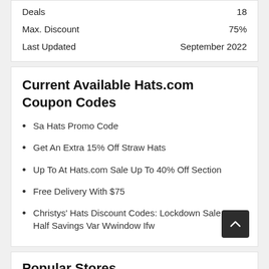| Deals | 18 |
| Max. Discount | 75% |
| Last Updated | September 2022 |
Current Available Hats.com Coupon Codes
Sa Hats Promo Code
Get An Extra 15% Off Straw Hats
Up To At Hats.com Sale Up To 40% Off Section
Free Delivery With $75
Christys' Hats Discount Codes: Lockdown Sale Up To Half Savings Var Wwindow Ifw
Popular Stores
Varidesk.Com Coupon
Vanquish Products Coup...